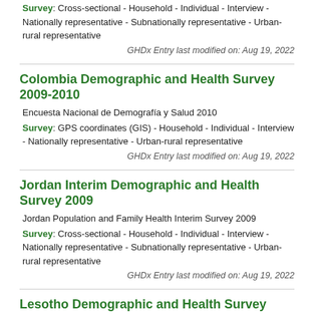Survey: Cross-sectional - Household - Individual - Interview - Nationally representative - Subnationally representative - Urban-rural representative
GHDx Entry last modified on: Aug 19, 2022
Colombia Demographic and Health Survey 2009-2010
Encuesta Nacional de Demografía y Salud 2010
Survey: GPS coordinates (GIS) - Household - Individual - Interview - Nationally representative - Urban-rural representative
GHDx Entry last modified on: Aug 19, 2022
Jordan Interim Demographic and Health Survey 2009
Jordan Population and Family Health Interim Survey 2009
Survey: Cross-sectional - Household - Individual - Interview - Nationally representative - Subnationally representative - Urban-rural representative
GHDx Entry last modified on: Aug 19, 2022
Lesotho Demographic and Health Survey 2009-2010